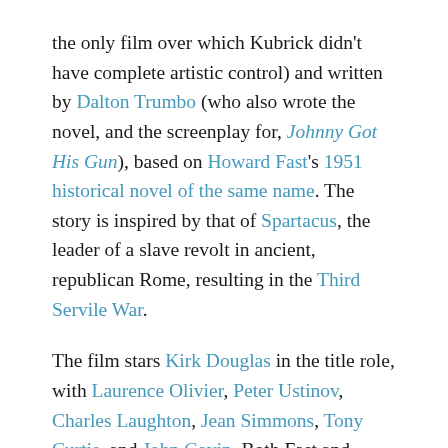the only film over which Kubrick didn't have complete artistic control) and written by Dalton Trumbo (who also wrote the novel, and the screenplay for, Johnny Got His Gun), based on Howard Fast's 1951 historical novel of the same name. The story is inspired by that of Spartacus, the leader of a slave revolt in ancient, republican Rome, resulting in the Third Servile War.

The film stars Kirk Douglas in the title role, with Laurence Olivier, Peter Ustinov, Charles Laughton, Jean Simmons, Tony Curtis, and John Gavin. Both Fast and Trumbo, being avowed leftists, were blacklisted, the former having to self-publish his book, and the latter being one of the Hollywood Ten.

Spartacus won four Academy Awards: Best Supporting